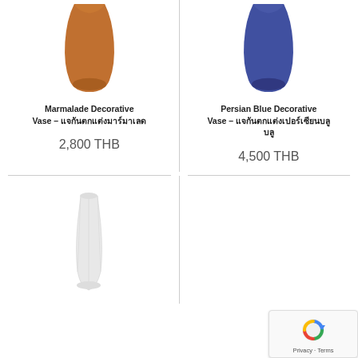[Figure (photo): Marmalade/brown decorative vase product photo, shown cropped at top]
[Figure (photo): Persian blue decorative vase product photo, shown cropped at top]
Marmalade Decorative Vase – แจกันตกแต่งมาร์มาเลด
2,800 THB
Persian Blue Decorative Vase – แจกันตกแต่งเปอร์เซียนบลู
4,500 THB
[Figure (photo): White/light grey decorative vase product photo]
[Figure (logo): reCAPTCHA badge with Privacy and Terms links]